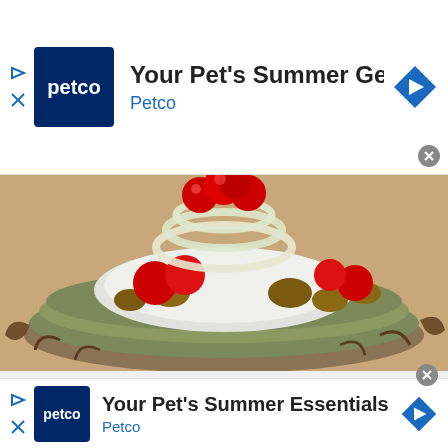[Figure (screenshot): Top Petco advertisement banner with Petco logo, text 'Your Pet's Summer Gear Is Here', 'Petco' in blue, play/close icons on left, arrow icon on right]
[Figure (photo): Food photo showing a decorative dish with zucchini fritters/pancakes topped with cream, maraschino cherries, walnuts, and onion rings, styled to look like a cake]
[Figure (screenshot): Bottom Petco advertisement banner with Petco logo, text 'Your Pet's Summer Essentials', 'Petco' in blue, play/close icons on left, arrow icon on right]